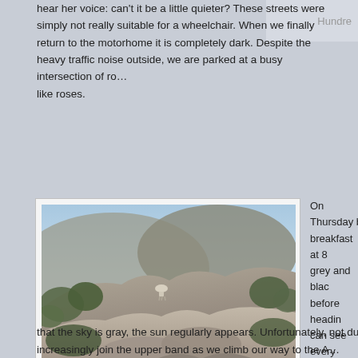hear her voice: can't it be a little quieter? These streets were simply not really suitable for a wheelchair. When we finally return to the motorhome it is completely dark. Despite the heavy traffic noise outside, we are parked at a busy intersection of ro... like roses.
Hundre
[Figure (photo): Mountain sheep on rocky hillside with shrubs and blue sky during hike in El Torcal]
Mountain sheep during the hike in El Torcal
On Thursday ... breakfast at 8... grey and black... before heading... can see every... covered with d... old, others jus...
Finally, we ar... motorhome cl... Torcal via very... Just after the l... parking where... here we want... reserve. Acco... possible beca... walked more t...
that the sky is gray, the sun regularly appears. Unfortunately, not duri... increasingly join the upper band as we climb our way to the A...